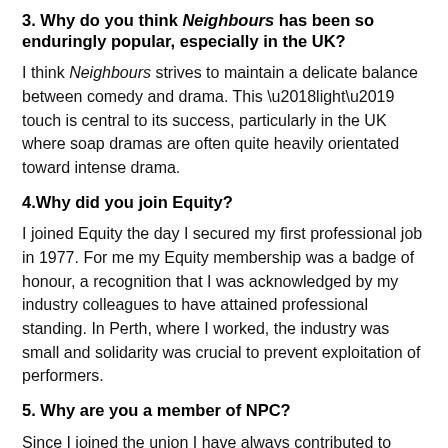3. Why do you think Neighbours has been so enduringly popular, especially in the UK?
I think Neighbours strives to maintain a delicate balance between comedy and drama. This ‘light’ touch is central to its success, particularly in the UK where soap dramas are often quite heavily orientated toward intense drama.
4.Why did you join Equity?
I joined Equity the day I secured my first professional job in 1977. For me my Equity membership was a badge of honour, a recognition that I was acknowledged by my industry colleagues to have attained professional standing. In Perth, where I worked, the industry was small and solidarity was crucial to prevent exploitation of performers.
5. Why are you a member of NPC?
Since I joined the union I have always contributed to Union committees because it strengthens my connection to my